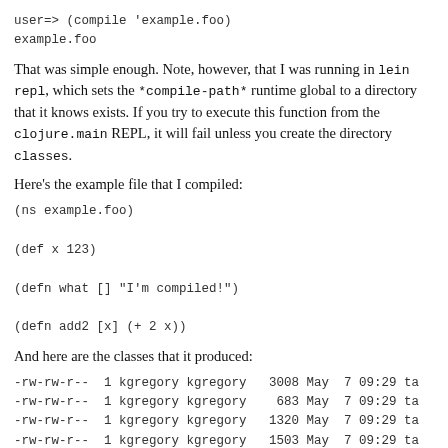user=> (compile 'example.foo)
example.foo
That was simple enough. Note, however, that I was running in lein repl, which sets the *compile-path* runtime global to a directory that it knows exists. If you try to execute this function from the clojure.main REPL, it will fail unless you create the directory classes.
Here's the example file that I compiled:
(ns example.foo)

(def x 123)

(defn what [] "I'm compiled!")

(defn add2 [x] (+ 2 x))
And here are the classes that it produced:
-rw-rw-r--  1 kgregory kgregory   3008 May  7 09:29 ta
-rw-rw-r--  1 kgregory kgregory    683 May  7 09:29 ta
-rw-rw-r--  1 kgregory kgregory   1320 May  7 09:29 ta
-rw-rw-r--  1 kgregory kgregory   1503 May  7 09:29 ta